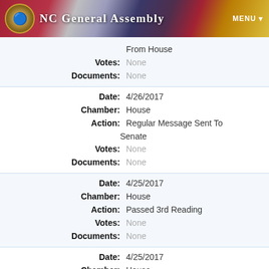NC General Assembly
| Field | Value |
| --- | --- |
|  | From House |
| Votes: | None |
| Documents: | None |
| Date: | 4/26/2017 |
| Chamber: | House |
| Action: | Regular Message Sent To Senate |
| Votes: | None |
| Documents: | None |
| Date: | 4/25/2017 |
| Chamber: | House |
| Action: | Passed 3rd Reading |
| Votes: | None |
| Documents: | None |
| Date: | 4/25/2017 |
| Chamber: | House |